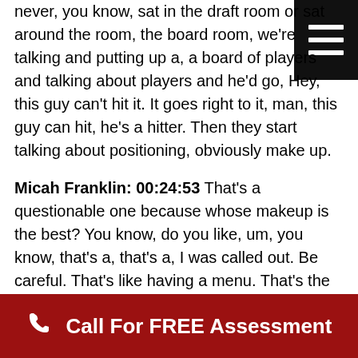never, you know, sat in the draft room or sat around the room, the board room, we're talking and putting up a, a board of players and talking about players and he'd go, Hey, this guy can't hit it. It goes right to it, man, this guy can hit, he's a hitter. Then they start talking about positioning, obviously make up.
Micah Franklin: 00:24:53 That's a questionable one because whose makeup is the best? You know, do you like, um, you know, that's a, that's a, I was called out. Be careful. That's like having a menu. That's the person who decides the makeup. You know, around the room. I could have a great makeup, but that person doesn't like that type of person is bias comes out. And if you're 18 years old, guess what? We're going to
[Figure (other): Black square button with three horizontal white lines (hamburger/menu icon)]
Call For FREE Assessment